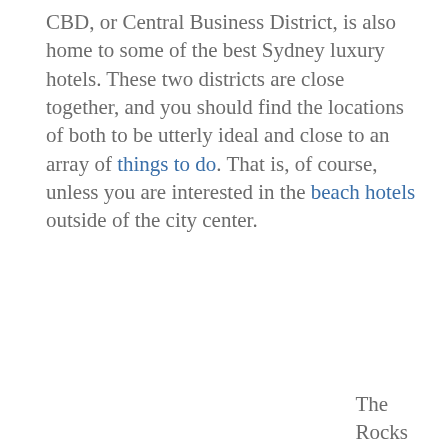CBD, or Central Business District, is also home to some of the best Sydney luxury hotels. These two districts are close together, and you should find the locations of both to be utterly ideal and close to an array of things to do. That is, of course, unless you are interested in the beach hotels outside of the city center.
The Rocks is